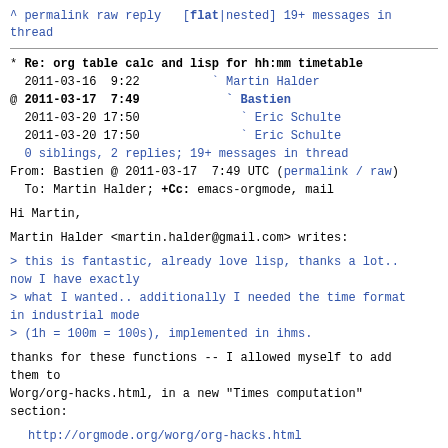^ permalink raw reply [flat|nested] 19+ messages in thread
* Re: org table calc and lisp for hh:mm timetable
  2011-03-16  9:22          ` Martin Halder
@ 2011-03-17  7:49            ` Bastien
  2011-03-20 17:50              ` Eric Schulte
  2011-03-20 17:50              ` Eric Schulte
  0 siblings, 2 replies; 19+ messages in thread
From: Bastien @ 2011-03-17  7:49 UTC (permalink / raw)
  To: Martin Halder; +Cc: emacs-orgmode, mail
Hi Martin,
Martin Halder <martin.halder@gmail.com> writes:
> this is fantastic, already love lisp, thanks a lot.. now I have exactly
> what I wanted.. additionally I needed the time format in industrial mode
> (1h = 100m = 100s), implemented in ihms.
thanks for these functions -- I allowed myself to add them to
Worg/org-hacks.html, in a new "Times computation" section:
http://orgmode.org/worg/org-hacks.html